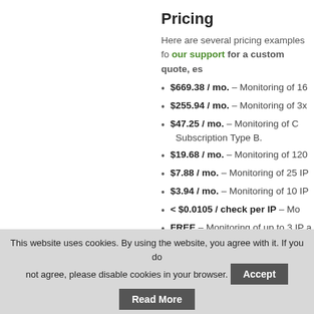Pricing
Here are several pricing examples fo our support for a custom quote, es
$669.38 / mo. – Monitoring of 16
$255.94 / mo. – Monitoring of 3x
$47.25 / mo. – Monitoring of C Subscription Type B.
$19.68 / mo. – Monitoring of 120
$7.88 / mo. – Monitoring of 25 IP
$3.94 / mo. – Monitoring of 10 IP
< $0.0105 / check per IP – Mo
FREE – Monitoring of up to 3 IP a
Description
Mail Server Blacklist Monitor periodi Blackhole List) and RBL (Real-time simple system of rules, you can defi up to 256 IP addresses. You can setu
This website uses cookies. By using the website, you agree with it. If you do not agree, please disable cookies in your browser.